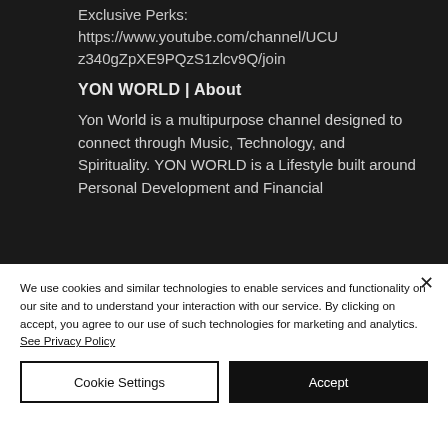[Figure (screenshot): Screenshot of a YouTube channel about page with dark background. Shows a URL for joining exclusive perks, a 'YON WORLD | About' heading, and a description text beginning 'Yon World is a multipurpose channel designed to connect through Music, Technology, and Spirituality. YON WORLD is a Lifestyle built around Personal Development and Financial']
We use cookies and similar technologies to enable services and functionality on our site and to understand your interaction with our service. By clicking on accept, you agree to our use of such technologies for marketing and analytics. See Privacy Policy
Cookie Settings
Accept